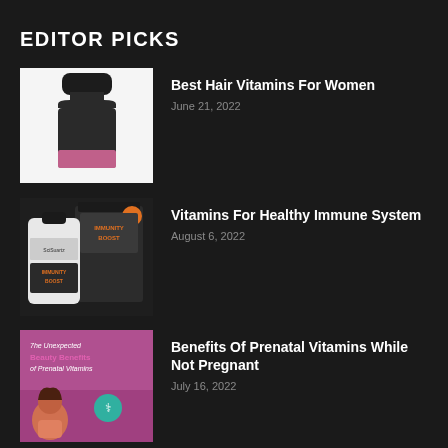EDITOR PICKS
[Figure (photo): Dark bottle of hair vitamins with purple/pink label on white background]
Best Hair Vitamins For Women
June 21, 2022
[Figure (photo): Schwartz Immunity Boost supplement product packaging on dark background]
Vitamins For Healthy Immune System
August 6, 2022
[Figure (photo): Infographic about unexpected beauty benefits of prenatal vitamins with cartoon woman]
Benefits Of Prenatal Vitamins While Not Pregnant
July 16, 2022